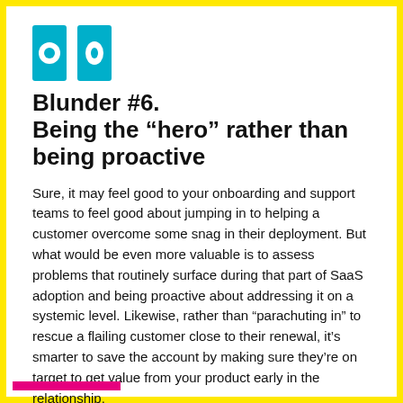[Figure (logo): Cyan/teal circular logo mark with a circular cutout, forming a bold icon]
Blunder #6.
Being the “hero” rather than being proactive
Sure, it may feel good to your onboarding and support teams to feel good about jumping in to helping a customer overcome some snag in their deployment. But what would be even more valuable is to assess problems that routinely surface during that part of SaaS adoption and being proactive about addressing it on a systemic level. Likewise, rather than “parachuting in” to rescue a flailing customer close to their renewal, it’s smarter to save the account by making sure they’re on target to get value from your product early in the relationship.